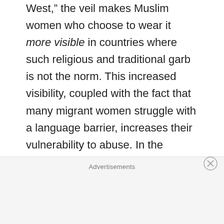West, the veil makes Muslim women who choose to wear it more visible in countries where such religious and traditional garb is not the norm. This increased visibility, coupled with the fact that many migrant women struggle with a language barrier, increases their vulnerability to abuse. In the various European and North American discourses on security and integration a great deal of public debate has been generated over the Muslim women's dress, and interestingly, as Amikam Nachmani points out,
Advertisements